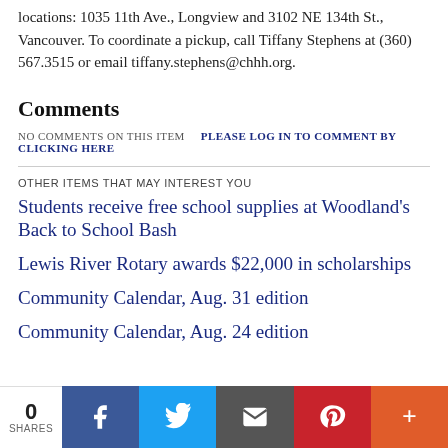locations: 1035 11th Ave., Longview and 3102 NE 134th St., Vancouver. To coordinate a pickup, call Tiffany Stephens at (360) 567.3515 or email tiffany.stephens@chhh.org.
Comments
NO COMMENTS ON THIS ITEM   PLEASE LOG IN TO COMMENT BY CLICKING HERE
OTHER ITEMS THAT MAY INTEREST YOU
Students receive free school supplies at Woodland's Back to School Bash
Lewis River Rotary awards $22,000 in scholarships
Community Calendar, Aug. 31 edition
Community Calendar, Aug. 24 edition
[Figure (infographic): Social share bar with share count 0, Facebook, Twitter, Email, Pinterest, and More buttons]